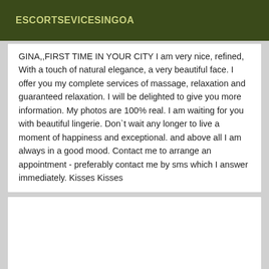ESCORTSEVICESINGOA
GINA,,FIRST TIME IN YOUR CITY I am very nice, refined, With a touch of natural elegance, a very beautiful face. I offer you my complete services of massage, relaxation and guaranteed relaxation. I will be delighted to give you more information. My photos are 100% real. I am waiting for you with beautiful lingerie. Don`t wait any longer to live a moment of happiness and exceptional. and above all I am always in a good mood. Contact me to arrange an appointment - preferably contact me by sms which I answer immediately. Kisses Kisses